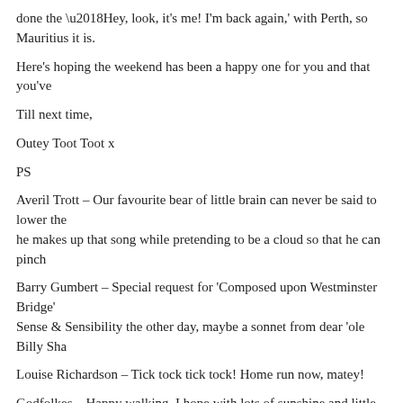done the ‘Hey, look, it’s me! I’m back again,’ with Perth, so Mauritius it is.
Here’s hoping the weekend has been a happy one for you and that you’ve
Till next time,
Outey Toot Toot x
PS
Averil Trott – Our favourite bear of little brain can never be said to lower the… he makes up that song while pretending to be a cloud so that he can pinch…
Barry Gumbert – Special request for ‘Composed upon Westminster Bridge’… Sense & Sensibility the other day, maybe a sonnet from dear ‘ole Billy Sha…
Louise Richardson – Tick tock tick tock! Home run now, matey!
Godfolkes – Happy walking, I hope with lots of sunshine and little rain.
This entry was posted in Blog. Bookmark the permalink.
← Seablog: This one’s for you, Pops
10 Responses to Seablog: What do you get if… with an ocean rowing boat?